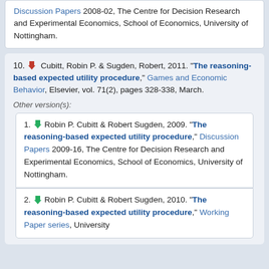Discussion Papers 2008-02, The Centre for Decision Research and Experimental Economics, School of Economics, University of Nottingham.
10. Cubitt, Robin P. & Sugden, Robert, 2011. "The reasoning-based expected utility procedure," Games and Economic Behavior, Elsevier, vol. 71(2), pages 328-338, March.
Other version(s):
1. Robin P. Cubitt & Robert Sugden, 2009. "The reasoning-based expected utility procedure," Discussion Papers 2009-16, The Centre for Decision Research and Experimental Economics, School of Economics, University of Nottingham.
2. Robin P. Cubitt & Robert Sugden, 2010. "The reasoning-based expected utility procedure," Working Paper series, University of ...